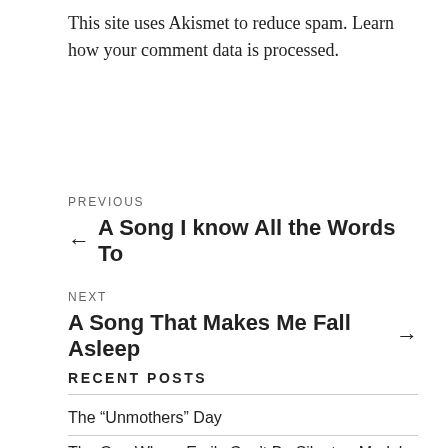This site uses Akismet to reduce spam. Learn how your comment data is processed.
PREVIOUS
← A Song I know All the Words To
NEXT
A Song That Makes Me Fall Asleep →
RECENT POSTS
The “Unmothers” Day
The One Where Emily Can’t Be Silent or Model Anymore